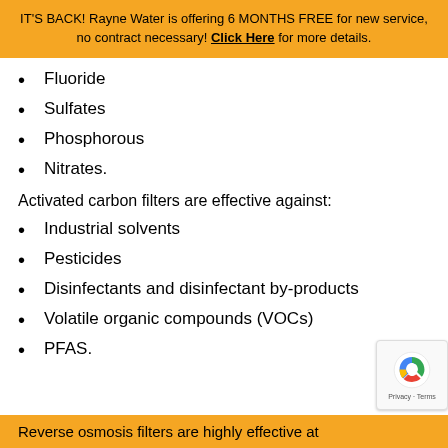IT'S BACK! Rayne Water is offering 6 MONTHS FREE for new service, no contract necessary! Click Here for more details.
Fluoride
Sulfates
Phosphorous
Nitrates.
Activated carbon filters are effective against:
Industrial solvents
Pesticides
Disinfectants and disinfectant by-products
Volatile organic compounds (VOCs)
PFAS.
Reverse osmosis filters are highly effective at